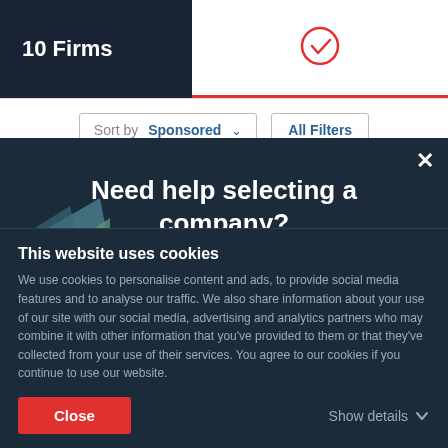10 Firms
Sort by Sponsored
All Filters
Need help selecting a company?
Tell us about your project and get introduced to the best companies for your needs
This website uses cookies
We use cookies to personalise content and ads, to provide social media features and to analyse our traffic. We also share information about your use of our site with our social media, advertising and analytics partners who may combine it with other information that you've provided to them or that they've collected from your use of their services. You agree to our cookies if you continue to use our website.
Close
Show details